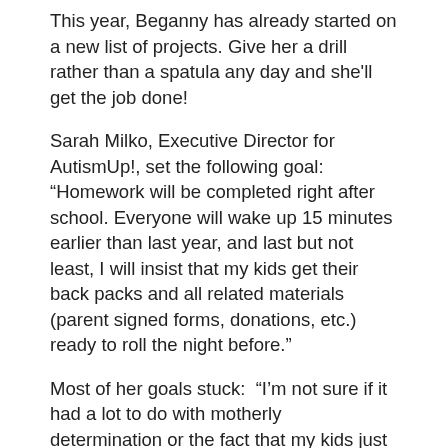This year, Beganny has already started on a new list of projects. Give her a drill rather than a spatula any day and she'll get the job done!
Sarah Milko, Executive Director for AutismUp!, set the following goal: “Homework will be completed right after school. Everyone will wake up 15 minutes earlier than last year, and last but not least, I will insist that my kids get their back packs and all related materials (parent signed forms, donations, etc.) ready to roll the night before.”
Most of her goals stuck:  “I’m not sure if it had a lot to do with motherly determination or the fact that my kids just started to grow up!”
Have you set any back to school goals? It’s not too late, if you haven’t. If you have set goal, you